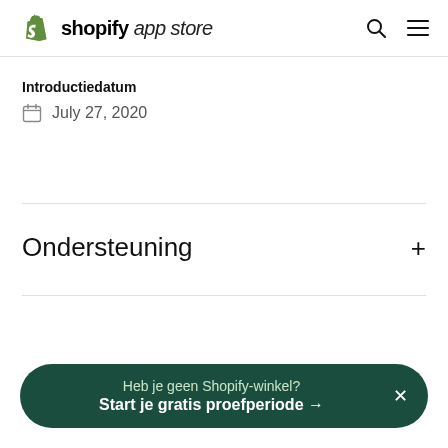shopify app store
Introductiedatum
July 27, 2020
Ondersteuning
Heb je geen Shopify-winkel? Start je gratis proefperiode →